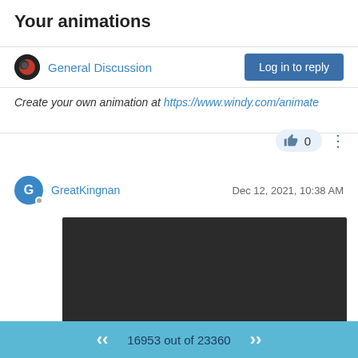Your animations
General Discussion
Log in to reply
Create your own animation at https://www.windy.com/animate
[Figure (screenshot): Like button with count 0 and three-dots menu icon]
GreatKingnan
Dec 12, 2021, 10:38 AM
[Figure (screenshot): Embedded video player showing 0:00 timestamp with play button, mute button, fullscreen button and options menu. Progress bar visible at bottom.]
To download this video just click with right mouse button on this link
16953 out of 23360